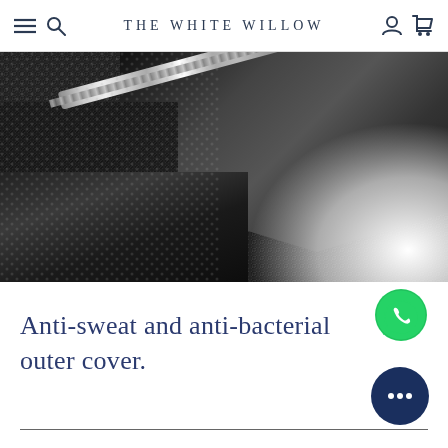THE WHITE WILLOW
[Figure (photo): Close-up black and white photo of a fabric pillow cover being unfolded, showing mesh/knit texture and a zipper detail]
[Figure (logo): WhatsApp green circular button with phone handset icon]
Anti-sweat and anti-bacterial outer cover.
[Figure (logo): Dark navy circular chat/messaging button with ellipsis (three dots) icon]